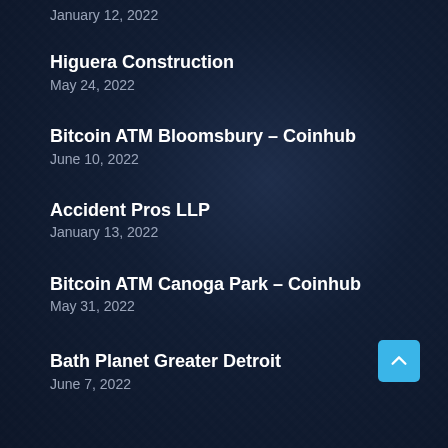January 12, 2022
Higuera Construction
May 24, 2022
Bitcoin ATM Bloomsbury – Coinhub
June 10, 2022
Accident Pros LLP
January 13, 2022
Bitcoin ATM Canoga Park – Coinhub
May 31, 2022
Bath Planet Greater Detroit
June 7, 2022